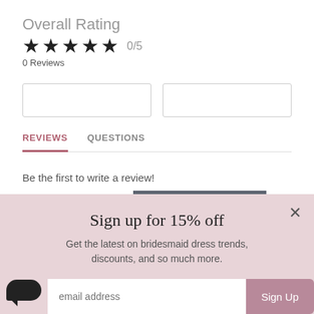Overall Rating
★ ★ ★ ★ ★ 0/5
0 Reviews
REVIEWS   QUESTIONS
Be the first to write a review!
WRITE A REVIEW
Sign up for 15% off
Get the latest on bridesmaid dress trends, discounts, and so much more.
email address
Sign Up